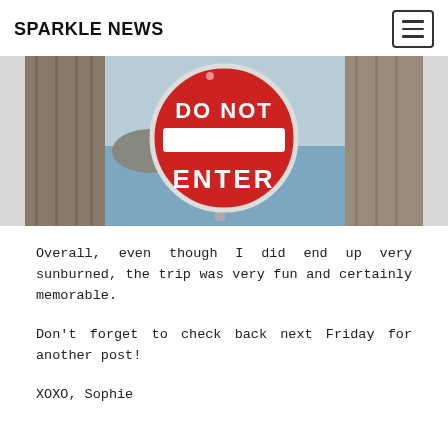SPARKLE NEWS
[Figure (photo): A red and white Do Not Enter sign leaning against a dock or pier structure, with water visible in the background.]
Overall, even though I did end up very sunburned, the trip was very fun and certainly memorable.
Don't forget to check back next Friday for another post!
XOXO, Sophie